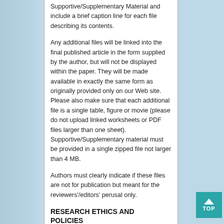Supportive/Supplementary Material and include a brief caption line for each file describing its contents.

Any additional files will be linked into the final published article in the form supplied by the author, but will not be displayed within the paper. They will be made available in exactly the same form as originally provided only on our Web site. Please also make sure that each additional file is a single table, figure or movie (please do not upload linked worksheets or PDF files larger than one sheet). Supportive/Supplementary material must be provided in a single zipped file not larger than 4 MB.

Authors must clearly indicate if these files are not for publication but meant for the reviewers'/editors' perusal only.
RESEARCH ETHICS AND POLICIES